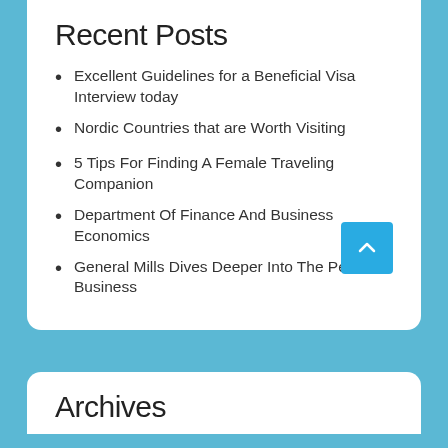Recent Posts
Excellent Guidelines for a Beneficial Visa Interview today
Nordic Countries that are Worth Visiting
5 Tips For Finding A Female Traveling Companion
Department Of Finance And Business Economics
General Mills Dives Deeper Into The Pet Business
Archives